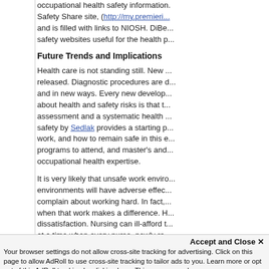occupational health safety information. Safety Share site, (http://my.premieri... and is filled with links to NIOSH. DiBe... safety websites useful for the health p...
Future Trends and Implications
Health care is not standing still. New ... released. Diagnostic procedures are d... and in new ways. Every new develop... about health and safety risks is that t... assessment and a systematic health ... safety by Sedlak provides a starting p... work, and how to remain safe in this e... programs to attend, and master's and... occupational health expertise.
It is very likely that unsafe work enviro... environments will have adverse effec... complain about working hard. In fact,... when that work makes a difference. H... dissatisfaction. Nursing can ill-afford t... at a time when every nurse, newly re... families, and communities. We are no...
Accept and Close ✕
Your browser settings do not allow cross-site tracking for advertising. Click on this page to allow AdRoll to use cross-site tracking to tailor ads to you. Learn more or opt out of this AdRoll tracking by clicking here. This message only appears once.